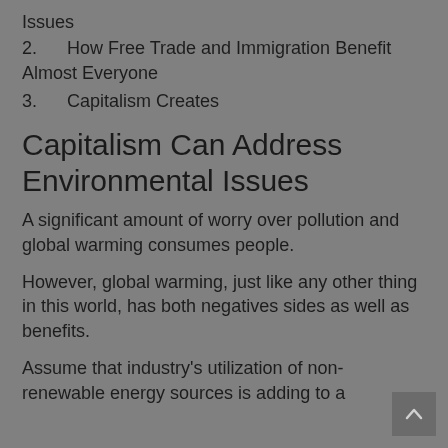Issues
2.      How Free Trade and Immigration Benefit Almost Everyone
3.      Capitalism Creates
Capitalism Can Address Environmental Issues
A significant amount of worry over pollution and global warming consumes people.
However, global warming, just like any other thing in this world, has both negatives sides as well as benefits.
Assume that industry's utilization of non-renewable energy sources is adding to a